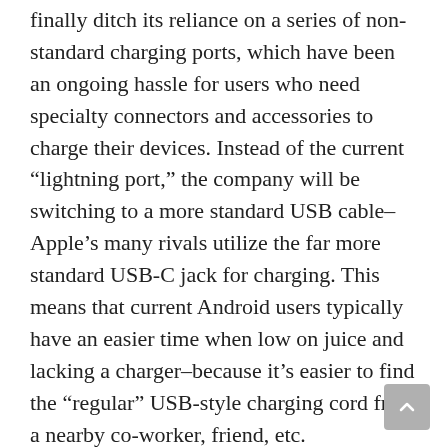finally ditch its reliance on a series of non-standard charging ports, which have been an ongoing hassle for users who need specialty connectors and accessories to charge their devices. Instead of the current “lightning port,” the company will be switching to a more standard USB cable– Apple’s many rivals utilize the far more standard USB-C jack for charging. This means that current Android users typically have an easier time when low on juice and lacking a charger–because it’s easier to find the “regular” USB-style charging cord from a nearby co-worker, friend, etc.
And, Apple is also reported to be doing away with the home screen button on the front of the iPhone. This also brings the company’s phones more in line with competitors who made that